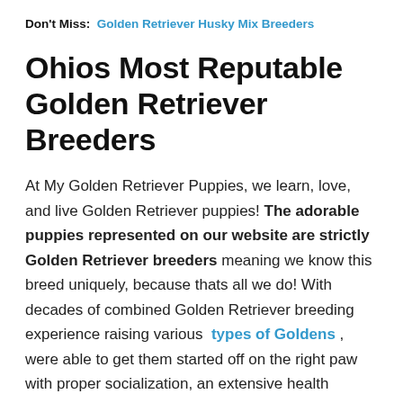Don't Miss:  Golden Retriever Husky Mix Breeders
Ohios Most Reputable Golden Retriever Breeders
At My Golden Retriever Puppies, we learn, love, and live Golden Retriever puppies! The adorable puppies represented on our website are strictly Golden Retriever breeders meaning we know this breed uniquely, because thats all we do! With decades of combined Golden Retriever breeding experience raising various types of Goldens , were able to get them started off on the right paw with proper socialization, an extensive health guarantee, and even arranging gentle puppy transportation , if needed.
Breed and Golden Retriever Breeders